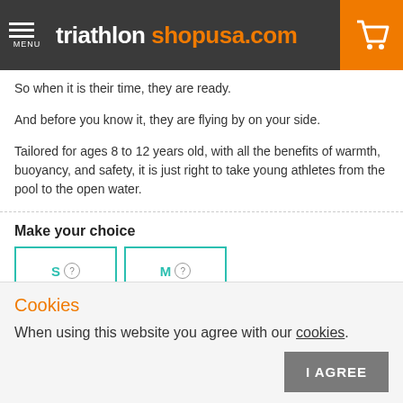triathlon shopusa.com
So when it is their time, they are ready.
And before you know it, they are flying by on your side.
Tailored for ages 8 to 12 years old, with all the benefits of warmth, buoyancy, and safety, it is just right to take young athletes from the pool to the open water.
Make your choice
S ? M ?
Cookies
When using this website you agree with our cookies.